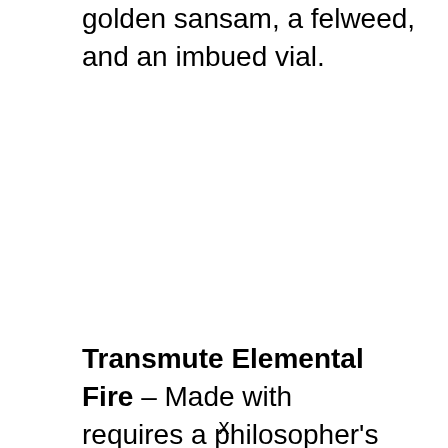golden sansam, a felweed, and an imbued vial.
Transmute Elemental Fire – Made with requires a philosopher's stone and a heart
x